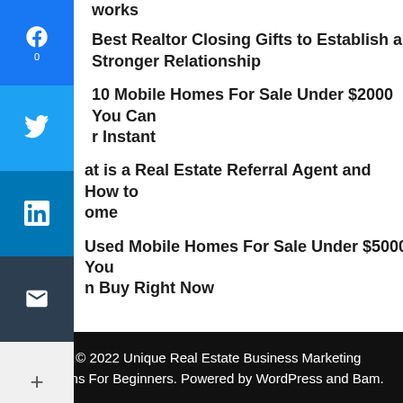works
Best Realtor Closing Gifts to Establish a Stronger Relationship
10 Mobile Homes For Sale Under $2000 You Can [Buy] Instant
[Wh]at is a Real Estate Referral Agent and How to [Bec]ome
[Used Mobile Homes For Sale Under $5000 You Ca]n Buy Right Now
Copyright © 2022 Unique Real Estate Business Marketing Ideas Plans For Beginners. Powered by WordPress and Bam.